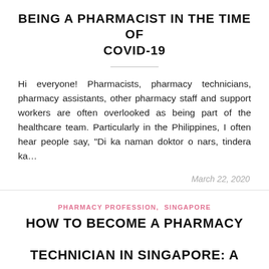BEING A PHARMACIST IN THE TIME OF COVID-19
Hi everyone! Pharmacists, pharmacy technicians, pharmacy assistants, other pharmacy staff and support workers are often overlooked as being part of the healthcare team. Particularly in the Philippines, I often hear people say, “Di ka naman doktor o nars, tindera ka…
March 22, 2020
PHARMACY PROFESSION, SINGAPORE
HOW TO BECOME A PHARMACY TECHNICIAN IN SINGAPORE: A